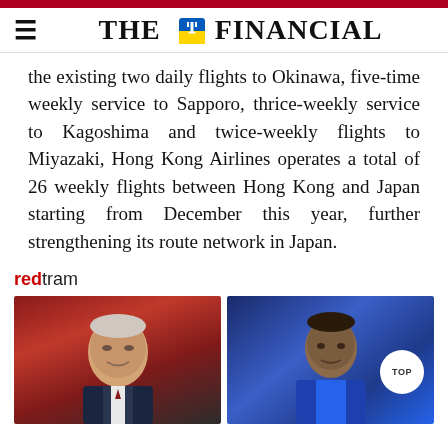THE FINANCIAL
the existing two daily flights to Okinawa, five-time weekly service to Sapporo, thrice-weekly service to Kagoshima and twice-weekly flights to Miyazaki, Hong Kong Airlines operates a total of 26 weekly flights between Hong Kong and Japan starting from December this year, further strengthening its route network in Japan.
redtram
[Figure (photo): Photo of Joe Biden speaking at a podium against a red background]
[Figure (photo): Photo of a football/soccer player against a blue background with TOP badge overlay]